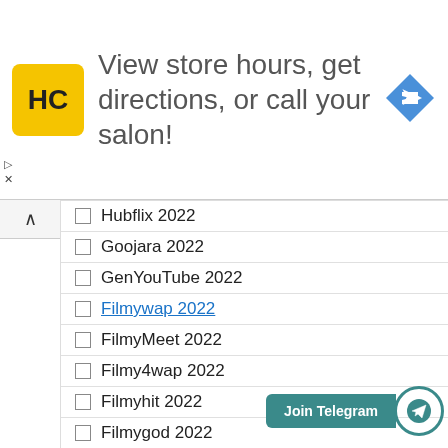[Figure (other): Advertisement banner with HC logo (yellow square with HC text), text 'View store hours, get directions, or call your salon!', and a blue diamond navigation arrow icon on the right.]
☐ Hubflix 2022
☐ Goojara 2022
☐ GenYouTube 2022
☐ Filmywap 2022
☐ FilmyMeet 2022
☐ Filmy4wap 2022
☐ Filmyhit 2022
☐ Filmygod 2022
[Figure (other): Join Telegram button with teal background and Telegram send icon in a circle]